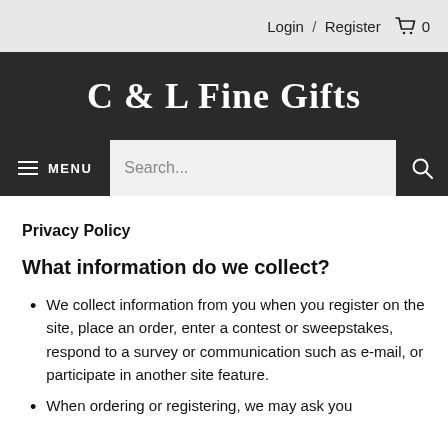Login / Register  🛒 0
C & L Fine Gifts
≡ MENU  Search...  🔍
Privacy Policy
What information do we collect?
We collect information from you when you register on the site, place an order, enter a contest or sweepstakes, respond to a survey or communication such as e-mail, or participate in another site feature.
When ordering or registering, we may ask you